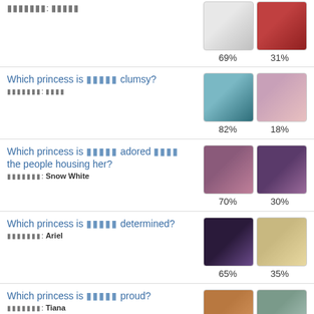Which princess is [text] clumsy? Answer: [text]
[Figure (photo): Two Disney princess portrait images with percentages 69% and 31%]
Which princess is [text] clumsy? Answer: [text]
[Figure (photo): Mulan and Ariel images with percentages 82% and 18%]
Which princess is [text] adored [text] the people housing her? Answer: Snow White
[Figure (photo): Snow White and Belle images with percentages 70% and 30%]
Which princess is [text] determined? Answer: Ariel
[Figure (photo): Ariel dark and Tiana images with percentages 65% and 35%]
Which princess is [text] proud? Answer: Tiana
[Figure (photo): Tiana and Aurora images with percentages 67% and 33%]